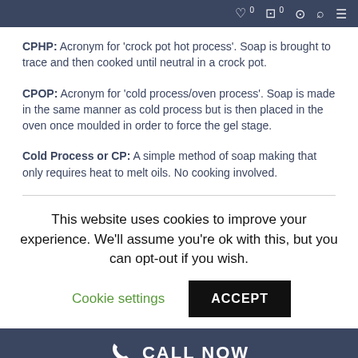Navigation bar with icons
CPHP: Acronym for 'crock pot hot process'. Soap is brought to trace and then cooked until neutral in a crock pot.
CPOP: Acronym for 'cold process/oven process'. Soap is made in the same manner as cold process but is then placed in the oven once moulded in order to force the gel stage.
Cold Process or CP: A simple method of soap making that only requires heat to melt oils. No cooking involved.
This website uses cookies to improve your experience. We'll assume you're ok with this, but you can opt-out if you wish.
Cookie settings | ACCEPT
CALL NOW